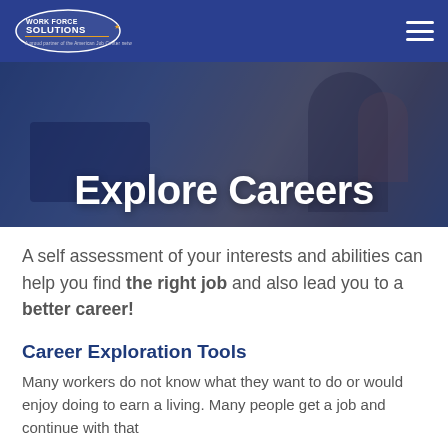WorkForce Solutions — navigation bar with logo and hamburger menu
[Figure (photo): Hero banner photo showing a woman working at a computer, overlaid with dark blue tint and the text 'Explore Careers' in large white bold font]
Explore Careers
A self assessment of your interests and abilities can help you find the right job and also lead you to a better career!
Career Exploration Tools
Many workers do not know what they want to do or would enjoy doing to earn a living. Many people get a job and continue with that